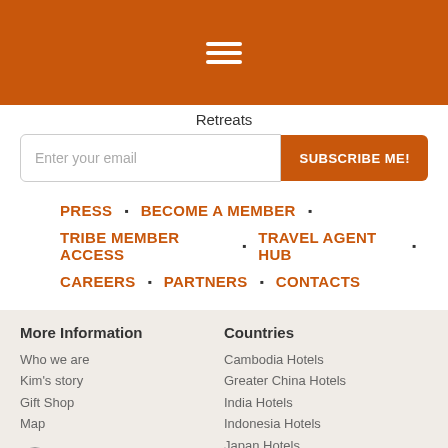[Figure (other): Orange header bar with hamburger menu icon (three white horizontal lines)]
Retreats
Enter your email
SUBSCRIBE ME!
PRESS
BECOME A MEMBER
TRIBE MEMBER ACCESS
TRAVEL AGENT HUB
CAREERS
PARTNERS
CONTACTS
More Information
Who we are
Kim's story
Gift Shop
Map
@SecretRetreatsAsia
@secretretreats
Countries
Cambodia Hotels
Greater China Hotels
India Hotels
Indonesia Hotels
Japan Hotels
Laos Hotels
Malaysia Hotels
Myanmar Hotels
Nepal Hotels
Philippines Hotels